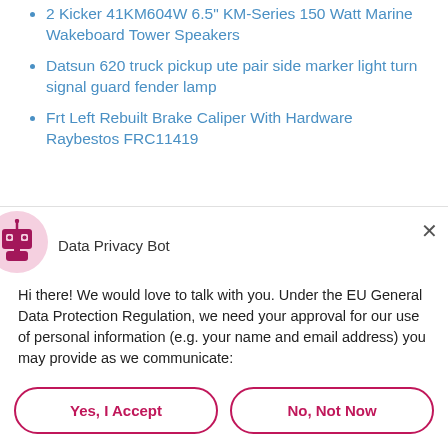2 Kicker 41KM604W 6.5" KM-Series 150 Watt Marine Wakeboard Tower Speakers
Datsun 620 truck pickup ute pair side marker light turn signal guard fender lamp
Frt Left Rebuilt Brake Caliper With Hardware Raybestos FRC11419
Data Privacy Bot
Hi there! We would love to talk with you. Under the EU General Data Protection Regulation, we need your approval for our use of personal information (e.g. your name and email address) you may provide as we communicate:
Yes, I Accept
No, Not Now